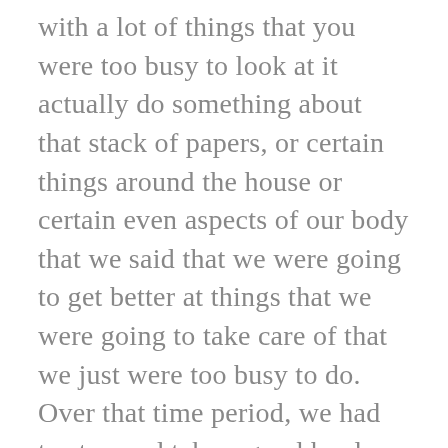with a lot of things that you were too busy to look at it actually do something about that stack of papers, or certain things around the house or certain even aspects of our body that we said that we were going to get better at things that we were going to take care of that we just were too busy to do. Over that time period, we had to stop and take a good hard look in the mirror, and I'd say for the first few months, that had to be one of the toughest parts because we realized how many folders were yet undone. How many folders that we have opened in our lives could have been, could have made our lives a whole lot better and more meaningful. One